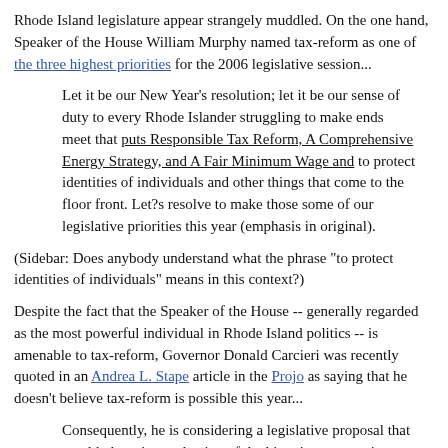Rhode Island legislature appear strangely muddled. On the one hand, Speaker of the House William Murphy named tax-reform as one of the three highest priorities for the 2006 legislative session...
Let it be our New Year's resolution; let it be our sense of duty to every Rhode Islander struggling to make ends meet that puts Responsible Tax Reform, A Comprehensive Energy Strategy, and A Fair Minimum Wage and to protect identities of individuals and other things that come to the floor front. Let?s resolve to make those some of our legislative priorities this year (emphasis in original).
(Sidebar: Does anybody understand what the phrase "to protect identities of individuals" means in this context?)
Despite the fact that the Speaker of the House -- generally regarded as the most powerful individual in Rhode Island politics -- is amenable to tax-reform, Governor Donald Carcieri was recently quoted in an Andrea L. Stape article in the Projo as saying that he doesn't believe tax-reform is possible this year...
Consequently, he is considering a legislative proposal that would phase in a reduction of the historic-preservation tax credit and follow that with a phased-